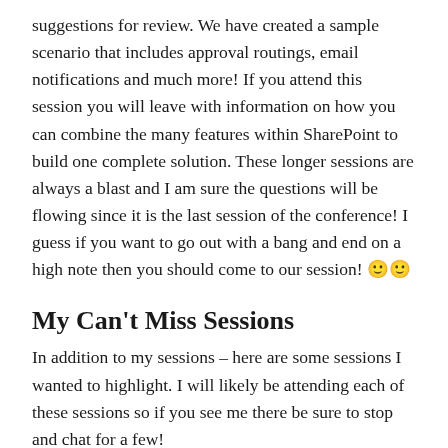suggestions for review. We have created a sample scenario that includes approval routings, email notifications and much more! If you attend this session you will leave with information on how you can combine the many features within SharePoint to build one complete solution. These longer sessions are always a blast and I am sure the questions will be flowing since it is the last session of the conference! I guess if you want to go out with a bang and end on a high note then you should come to our session! 🙂🙂
My Can't Miss Sessions
In addition to my sessions – here are some sessions I wanted to highlight. I will likely be attending each of these sessions so if you see me there be sure to stop and chat for a few!